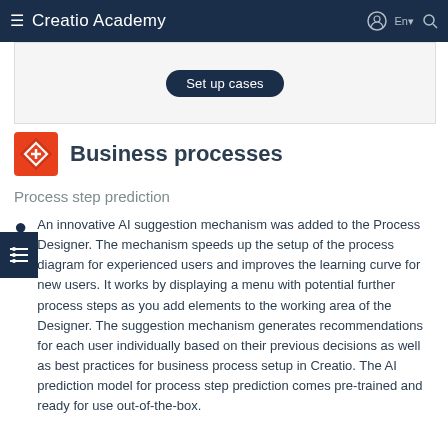Creatio Academy
[Figure (screenshot): Set up cases button on a light gray background]
Business processes
Process step prediction
An innovative AI suggestion mechanism was added to the Process Designer. The mechanism speeds up the setup of the process diagram for experienced users and improves the learning curve for new users. It works by displaying a menu with potential further process steps as you add elements to the working area of the Designer. The suggestion mechanism generates recommendations for each user individually based on their previous decisions as well as best practices for business process setup in Creatio. The AI prediction model for process step prediction comes pre-trained and ready for use out-of-the-box.